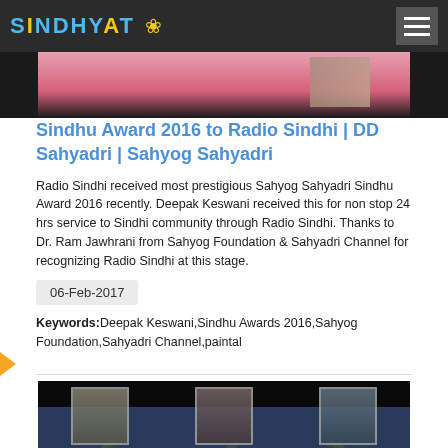SINDHYAT
[Figure (photo): Partial view of people at an event, cropped at top portion with pink/red attire visible]
Sindhu Award 2016 to Radio Sindhi | DD Sahyadri | Sahyog Sahyadri
Radio Sindhi received most prestigious Sahyog Sahyadri Sindhu Award 2016 recently. Deepak Keswani received this for non stop 24 hrs service to Sindhi community through Radio Sindhi. Thanks to Dr. Ram Jawhrani from Sahyog Foundation & Sahyadri Channel for recognizing Radio Sindhi at this stage.
06-Feb-2017
Keywords: Deepak Keswani,Sindhu Awards 2016,Sahyog Foundation,Sahyadri Channel,paintal
[Figure (photo): Award ceremony photo showing three portrait frames with people on a dark decorative background with laurel/leaf ornaments]